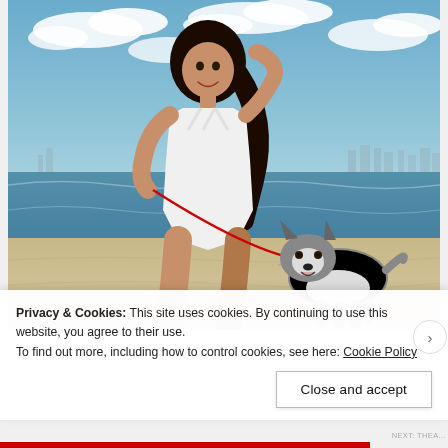[Figure (photo): A woman in a white swimsuit standing on a beach holding a leash attached to a Siberian Husky dog. The woman has long dark curly hair and is smiling. The beach scene shows ocean water and a blue sky with clouds in the background.]
Privacy & Cookies: This site uses cookies. By continuing to use this website, you agree to their use.
To find out more, including how to control cookies, see here: Cookie Policy
Close and accept